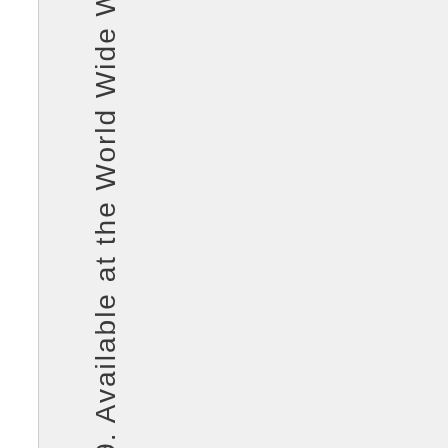09. Available at the World Wide We